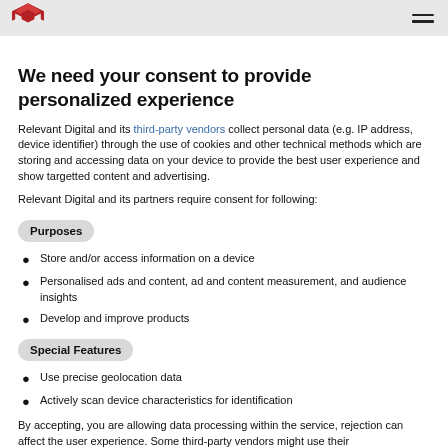Magento logo and navigation menu
We need your consent to provide personalized experience
Relevant Digital and its third-party vendors collect personal data (e.g. IP address, device identifier) through the use of cookies and other technical methods which are storing and accessing data on your device to provide the best user experience and show targetted content and advertising.
Relevant Digital and its partners require consent for following:
Purposes
Store and/or access information on a device
Personalised ads and content, ad and content measurement, and audience insights
Develop and improve products
Special Features
Use precise geolocation data
Actively scan device characteristics for identification
By accepting, you are allowing data processing within the service, rejection can affect the user experience. Some third-party vendors might use their